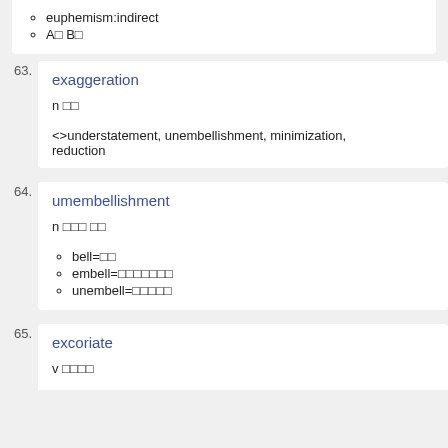euphemism:indirect
A B
63. exaggeration
n 과장
<>understatement, unembellishment, minimization, reduction
64. umembellishment
n 꾸밈 없음
bell=종
embell=아름답게하다
unembell=꾸밈없는
65. excoriate
v 맹비난